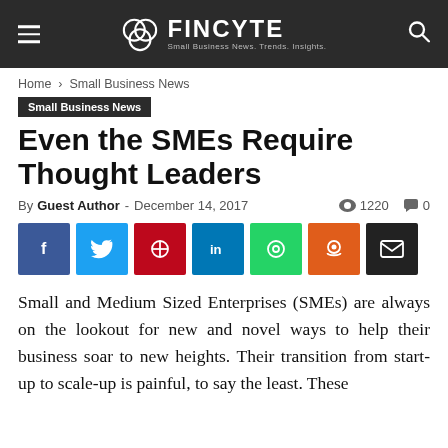FINCYTE — Small Business News. Trends. Insights.
Home › Small Business News
Small Business News
Even the SMEs Require Thought Leaders
By Guest Author - December 14, 2017  👁 1220  💬 0
[Figure (other): Social sharing buttons: Facebook, Twitter, Pinterest, LinkedIn, WhatsApp, Reddit, Email]
Small and Medium Sized Enterprises (SMEs) are always on the lookout for new and novel ways to help their business soar to new heights. Their transition from start-up to scale-up is painful, to say the least. These